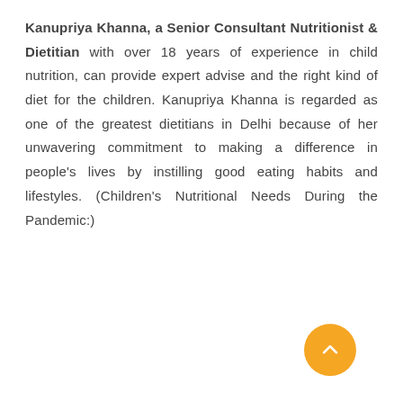Kanupriya Khanna, a Senior Consultant Nutritionist & Dietitian with over 18 years of experience in child nutrition, can provide expert advise and the right kind of diet for the children. Kanupriya Khanna is regarded as one of the greatest dietitians in Delhi because of her unwavering commitment to making a difference in people's lives by instilling good eating habits and lifestyles. (Children's Nutritional Needs During the Pandemic:)